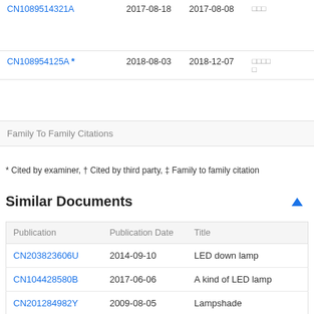| Publication | Publication Date | Publication Date | Owner |
| --- | --- | --- | --- |
| CN108954125A * | 2018-08-03 | 2018-12-07 | □□□□□ |
Family To Family Citations
* Cited by examiner, † Cited by third party, ‡ Family to family citation
Similar Documents
| Publication | Publication Date | Title |
| --- | --- | --- |
| CN203823606U | 2014-09-10 | LED down lamp |
| CN104428580B | 2017-06-06 | A kind of LED lamp |
| CN201284982Y | 2009-08-05 | Lampshade |
| CN104019435A | 2014-09-03 | LED radiator and LED wall |